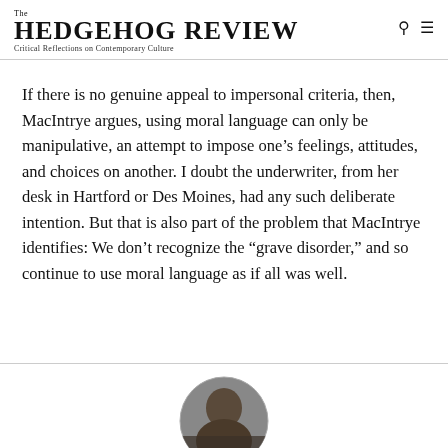The HEDGEHOG REVIEW
Critical Reflections on Contemporary Culture
If there is no genuine appeal to impersonal criteria, then, MacIntrye argues, using moral language can only be manipulative, an attempt to impose one’s feelings, attitudes, and choices on another. I doubt the underwriter, from her desk in Hartford or Des Moines, had any such deliberate intention. But that is also part of the problem that MacIntrye identifies: We don’t recognize the “grave disorder,” and so continue to use moral language as if all was well.
[Figure (photo): Partial circular portrait photo at bottom center of page, cropped by page edge]